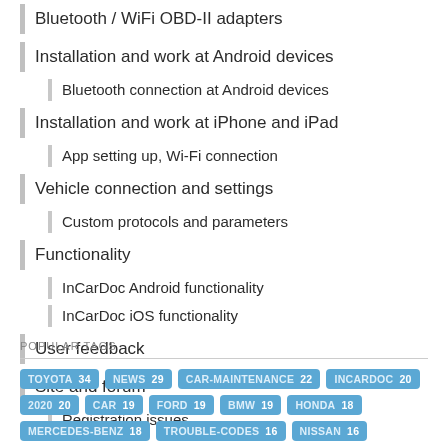Bluetooth / WiFi OBD-II adapters
Installation and work at Android devices
Bluetooth connection at Android devices
Installation and work at iPhone and iPad
App setting up, Wi-Fi connection
Vehicle connection and settings
Custom protocols and parameters
Functionality
InCarDoc Android functionality
InCarDoc iOS functionality
User feedback
Site and forum
Registration issues
POPULAR TAGS
TOYOTA 34  NEWS 29  CAR-MAINTENANCE 22  INCARDOC 20  2020 20  CAR 19  FORD 19  BMW 19  HONDA 18  MERCEDES-BENZ 18  TROUBLE-CODES 16  NISSAN 16